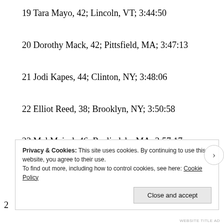19 Tara Mayo, 42; Lincoln, VT; 3:44:50
20 Dorothy Mack, 42; Pittsfield, MA; 3:47:13
21 Jodi Kapes, 44; Clinton, NY; 3:48:06
22 Elliot Reed, 38; Brooklyn, NY; 3:50:58
23 Mel Maisel, 46; Roslindale, MA; 3:57:17
24 Nancy Mead, 53; Wendell, MA; 4:00:01
25 Kevin Gorey, 42; Great Barrington, MA; 4:08:17
Privacy & Cookies: This site uses cookies. By continuing to use this website, you agree to their use. To find out more, including how to control cookies, see here: Cookie Policy
Close and accept